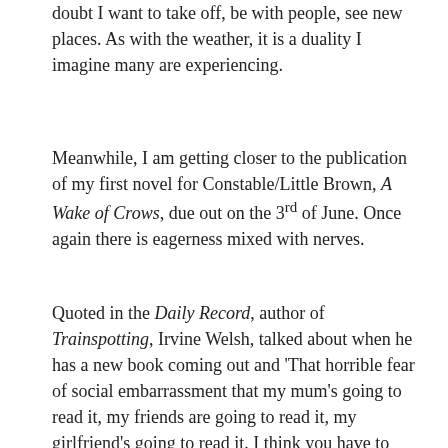doubt I want to take off, be with people, see new places. As with the weather, it is a duality I imagine many are experiencing.
Meanwhile, I am getting closer to the publication of my first novel for Constable/Little Brown, A Wake of Crows, due out on the 3rd of June. Once again there is eagerness mixed with nerves.
Quoted in the Daily Record, author of Trainspotting, Irvine Welsh, talked about when he has a new book coming out and 'That horrible fear of social embarrassment that my mum's going to read it, my friends are going to read it, my girlfriend's going to read it. I think you have to have that sense that you're going to be humiliated and dragged through the streets on stocks with rotten tomatoes being thrown at me. If you don't have that it's not going to work. You have to be incredibly uncomfortable and feel you're going to die of social embarrassment when you put a book out otherwise it's not